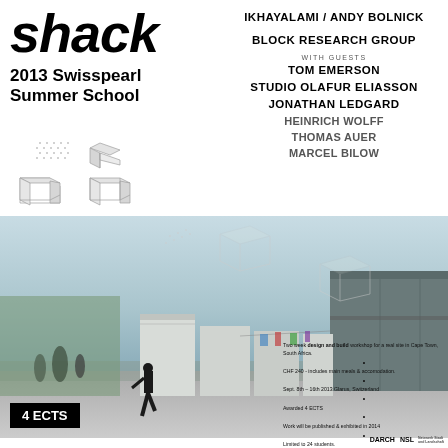shack
2013 Swisspearl Summer School
IKHAYALAMI / ANDY BOLNICK
BLOCK RESEARCH GROUP
WITH GUESTS
TOM EMERSON
STUDIO OLAFUR ELIASSON
JONATHAN LEDGARD
HEINRICH WOLFF
THOMAS AUER
MARCEL BILOW
[Figure (illustration): Axonometric wireframe diagrams of modular shack structures in various configurations]
[Figure (photo): Street scene in Cape Town township with shack structures and a man walking on the road]
Two week design and build workshop for a real site in Cape Town, South Africa.
•
CHF 240 - includes main meals & accomodation.
•
Sept. 8th – 16th 2013 Glarus, Switzerland
•
Awarded 4 ECTS
•
Work will be published & exhibited in 2014
•
Limited to 24 students.
•
Apply by 1st of July. Send portfolio to lksd@arch.ethz.ch
http://vurb.arch.ethz.ch/classes/summer-2013/emspower
•
More info : lksd@arch.ethz.ch
4 ECTS
D ARCH  NSL